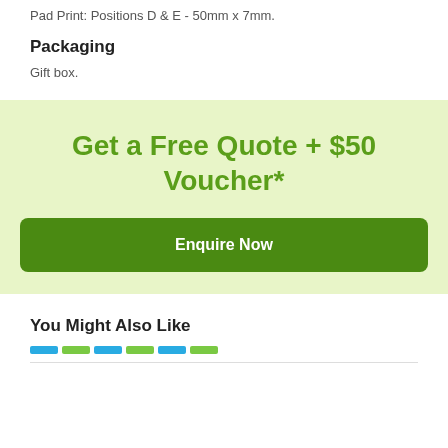Pad Print: Positions D & E - 50mm x 7mm.
Packaging
Gift box.
Get a Free Quote + $50 Voucher*
Enquire Now
You Might Also Like